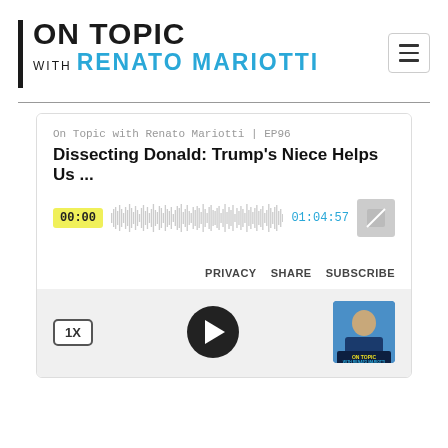[Figure (logo): On Topic with Renato Mariotti podcast logo with vertical black bar on left, bold black ON TOPIC text, and blue RENATO MARIOTTI text below WITH label]
[Figure (screenshot): Podcast player card showing episode EP96 titled Dissecting Donald: Trump's Niece Helps Us ..., with waveform, timestamps 00:00 and 01:04:57, PRIVACY SHARE SUBSCRIBE links, 1X speed button, play button, and podcast thumbnail]
On Topic with Renato Mariotti | EP96
Dissecting Donald: Trump's Niece Helps Us ...
00:00
01:04:57
PRIVACY  SHARE  SUBSCRIBE
1X